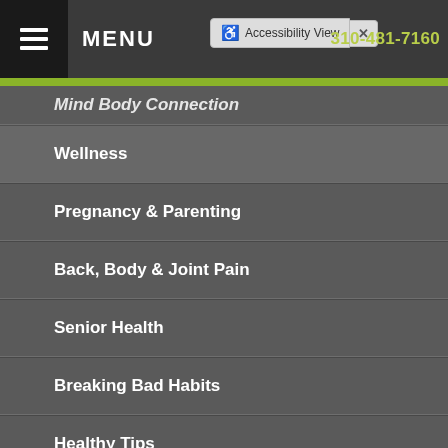MENU | Accessibility View | 310-481-7160
Mind Body Connection (partial, cut off)
Wellness
Pregnancy & Parenting
Back, Body & Joint Pain
Senior Health
Breaking Bad Habits
Healthy Tips
Exercise & Fitness
Auto Rehab & Recovery (partial, cut off)